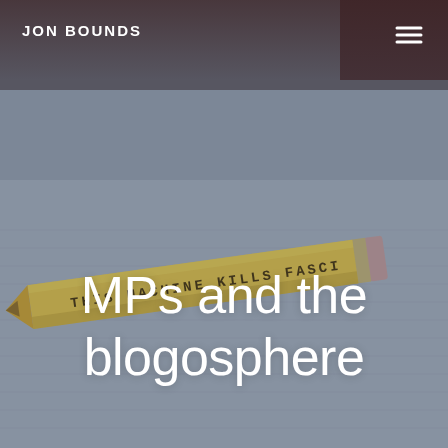JON BOUNDS
[Figure (photo): A yellow pencil with the text 'THIS MACHINE KILLS FASCI...' stamped on it, resting on lined paper. The background is a muted blue-grey toned photograph.]
MPs and the blogosphere